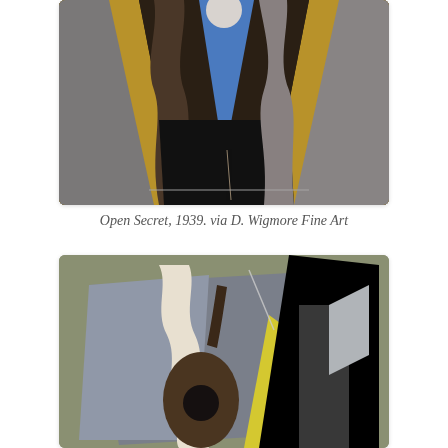[Figure (illustration): Abstract painting 'Open Secret' (1939) showing geometric mountain-like forms in dark, brown, blue, gold/ochre and grey tones against a dark background, with a circular white/cream shape at top.]
Open Secret, 1939. via D. Wigmore Fine Art
[Figure (illustration): Abstract cubist-style painting showing a guitar or musical instrument rendered in geometric shapes with grey, brown, white, cream, yellow and black tones on a muted olive-green background.]